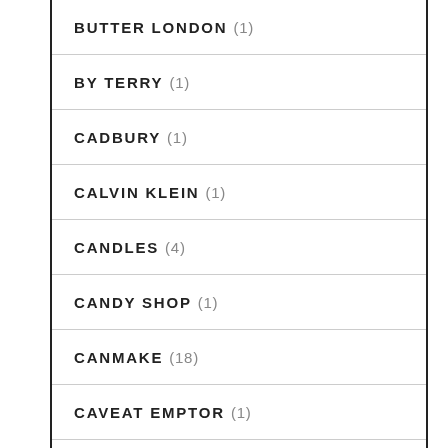BUTTER LONDON (1)
BY TERRY (1)
CADBURY (1)
CALVIN KLEIN (1)
CANDLES (4)
CANDY SHOP (1)
CANMAKE (18)
CAVEAT EMPTOR (1)
CHANEL (12)